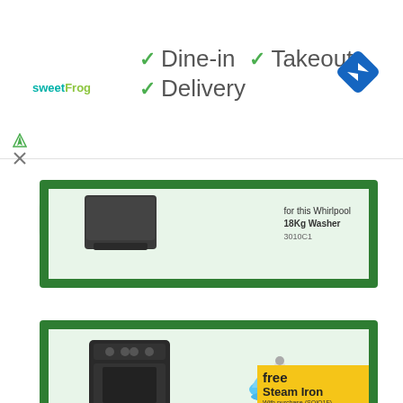[Figure (screenshot): Sweet Frog logo in top-left of a Google Maps-style UI bar]
✓ Dine-in  ✓ Takeout  ✓ Delivery
[Figure (photo): Whirlpool 18Kg Washer product image (top portion) in a green-bordered promotional panel. Text: for this Whirlpool 18Kg Washer, 3010C1]
[Figure (photo): Promotional panel showing a top-load washing machine and a steam iron with a yellow 'free Steam Iron' banner. Text: free Steam Iron, With purchase (SQIO1F)]